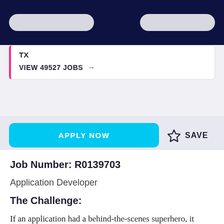[navigation bar with two pill buttons]
TX
VIEW 49527 JOBS →
APPLY NOW
☆ SAVE
Job Number: R0139703
Application Developer
The Challenge:
If an application had a behind-the-scenes superhero, it would be you. As a Software Sustainment Engineer, you are pivotal to